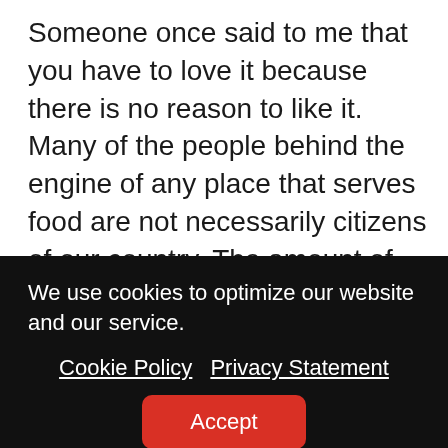Someone once said to me that you have to love it because there is no reason to like it. Many of the people behind the engine of any place that serves food are not necessarily citizens of our country. The amount of people from other countries that come here to work is huge. Some come for the winter, like the ski instructors who move from South America for the season and return in the off-season when it is winter back home, like Chile. Many come to be camp counselors. Many come for a summer job. Thanks to
We use cookies to optimize our website and our service.
Cookie Policy   Privacy Statement
Accept